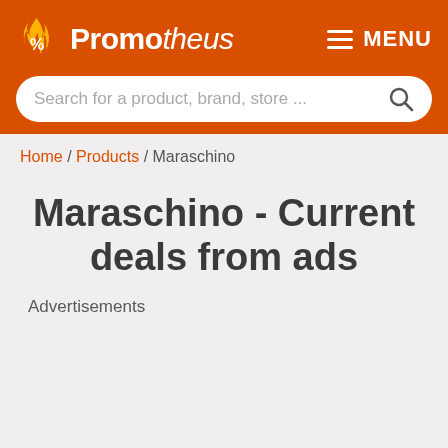Promotheus | MENU
Search for a product, brand, store ...
Home / Products / Maraschino
Maraschino - Current deals from ads
Advertisements